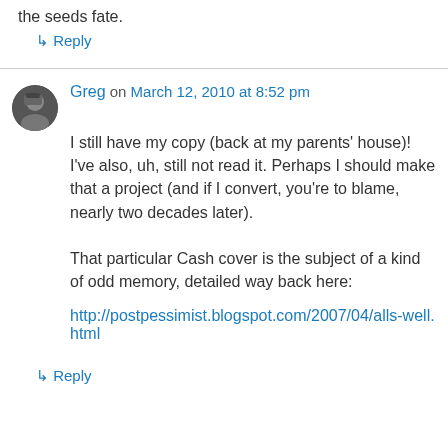the seeds fate.
↳ Reply
Greg on March 12, 2010 at 8:52 pm
I still have my copy (back at my parents' house)! I've also, uh, still not read it. Perhaps I should make that a project (and if I convert, you're to blame, nearly two decades later).

That particular Cash cover is the subject of a kind of odd memory, detailed way back here:
http://postpessimist.blogspot.com/2007/04/alls-well.html
↳ Reply